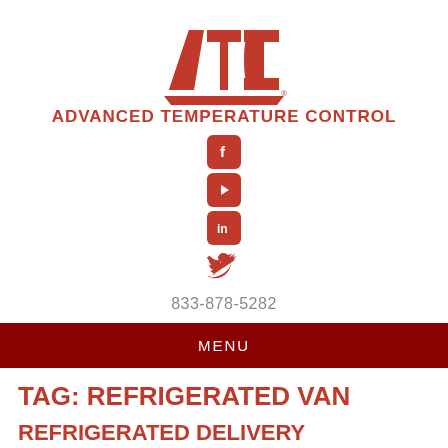[Figure (logo): ATC (Advanced Temperature Control) red logo with stylized letters A, T, C and a red trapezoid base with registered trademark symbol]
ADVANCED TEMPERATURE CONTROL
[Figure (infographic): Social media icons column: Facebook, YouTube, LinkedIn, Twitter — all in red]
833-878-5282
MENU
TAG: REFRIGERATED VAN
REFRIGERATED DELIVERY TRUCKS